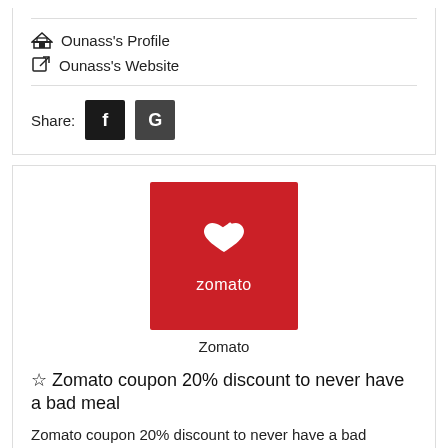🏛 Ounass's Profile
↗ Ounass's Website
Share: [f] [G]
[Figure (logo): Zomato logo — red square with white heart/fork icon and 'zomato' text]
Zomato
☆ Zomato coupon 20% discount to never have a bad meal
Zomato coupon 20% discount to never have a bad mea... ▾ More